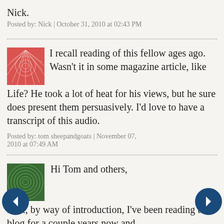Nick.
Posted by: Nick | October 31, 2010 at 02:43 PM
I recall reading of this fellow ages ago. Wasn't it in some magazine article, like Life? He took a lot of heat for his views, but he sure does present them persuasively. I'd love to have a transcript of this audio.
Posted by: tom sheepandgoats | November 07, 2010 at 07:49 AM
Hi Tom and others,
First, by way of introduction, I've been reading this blog for a couple years now and